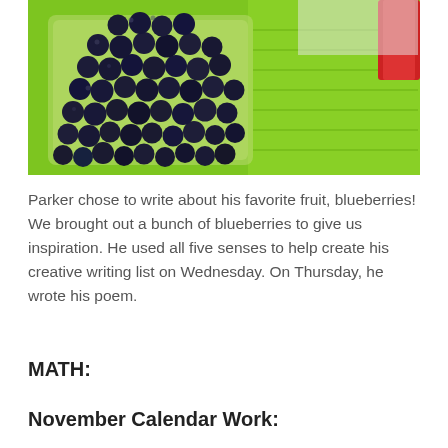[Figure (photo): A container of fresh blueberries placed on a bright green surface/folder, viewed from above. A red object is partially visible in the upper right corner.]
Parker chose to write about his favorite fruit, blueberries!  We brought out a bunch of blueberries to give us inspiration.  He used all five senses to help create his creative writing list on Wednesday.  On Thursday, he wrote his poem.
MATH:
November Calendar Work: